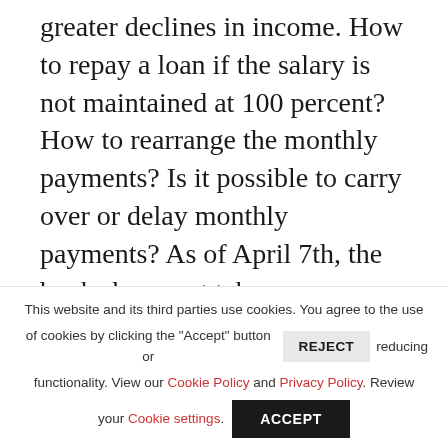greater declines in income. How to repay a loan if the salary is not maintained at 100 percent? How to rearrange the monthly payments? Is it possible to carry over or delay monthly payments? As of April 7th, the banks have not taken any exceptional measures and the monthly payments remain due. However, most home loan contracts contain default clauses to answer these questions. Depending on the case and the
This website and its third parties use cookies. You agree to the use of cookies by clicking the "Accept" button or REJECT reducing functionality. View our Cookie Policy and Privacy Policy. Review your Cookie settings. ACCEPT